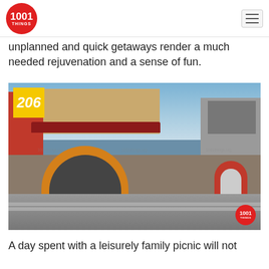1001 THINGS (logo) | hamburger menu
unplanned and quick getaways render a much needed rejuvenation and a sense of fun.
[Figure (photo): Exterior photo of an amusement/family entertainment center building with a colorful ornate arch entrance, red walls, stone facade, and a number 206 badge in yellow at the top-left corner. The 1001 Things logo watermark appears at the bottom-right.]
A day spent with a leisurely family picnic will not